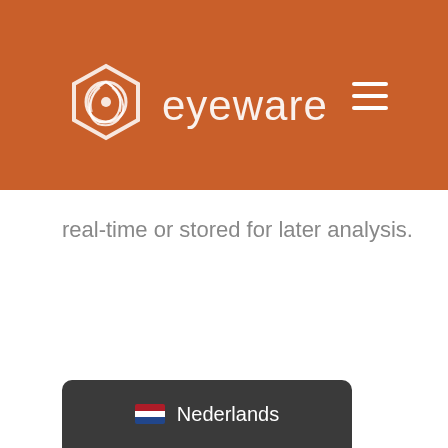[Figure (logo): Eyeware logo with hexagonal swirl icon and white text 'eyeware' on orange/brown header background]
real-time or stored for later analysis.
[Figure (other): Language selector badge showing Netherlands flag and 'Nederlands' text on dark rounded rectangle]